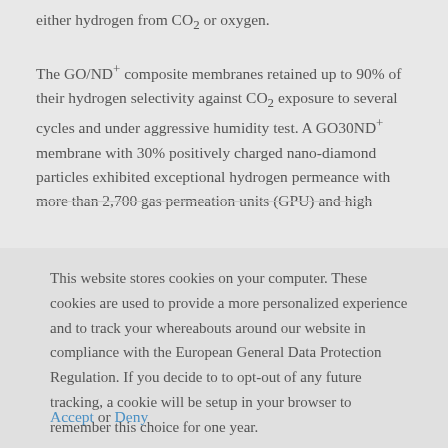either hydrogen from CO₂ or oxygen.

The GO/ND⁺ composite membranes retained up to 90% of their hydrogen selectivity against CO₂ exposure to several cycles and under aggressive humidity test. A GO30ND⁺ membrane with 30% positively charged nano-diamond particles exhibited exceptional hydrogen permeance with more than 2,700 gas permeation units (GPU) and high
This website stores cookies on your computer. These cookies are used to provide a more personalized experience and to track your whereabouts around our website in compliance with the European General Data Protection Regulation. If you decide to to opt-out of any future tracking, a cookie will be setup in your browser to remember this choice for one year.
Accept or Deny